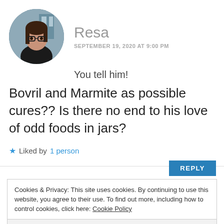[Figure (photo): Circular avatar photo of a young woman with glasses and long hair, wearing a dark jacket, standing outdoors.]
Resa
SEPTEMBER 19, 2020 AT 9:00 PM
You tell him!
Bovril and Marmite as possible cures?? Is there no end to his love of odd foods in jars?
★ Liked by 1 person
REPLY
Cookies & Privacy: This site uses cookies. By continuing to use this website, you agree to their use. To find out more, including how to control cookies, click here: Cookie Policy
Accept & Close
No, I think there is no end to